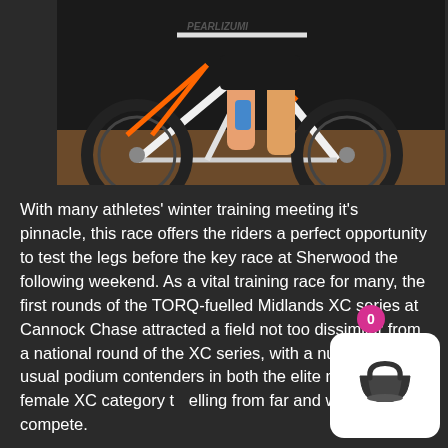[Figure (photo): Cropped photo of a mountain bike with white/orange frame and large knobby tires, with a cyclist's legs visible in the background against a dark/outdoor setting. A handlebar with 'Pearlizumi' text visible at the top.]
With many athletes' winter training meeting it's pinnacle, this race offers the riders a perfect opportunity to test the legs before the key race at Sherwood the following weekend. As a vital training race for many, the first rounds of the TORQ-fuelled Midlands XC series at Cannock Chase attracted a field not too dissimilar from a national round of the XC series, with a number of usual podium contenders in both the elite male and female XC category travelling from far and wide to compete.
The Midlands XC series is now concreted in the calendar of UK MTB Racing, as a well run race series